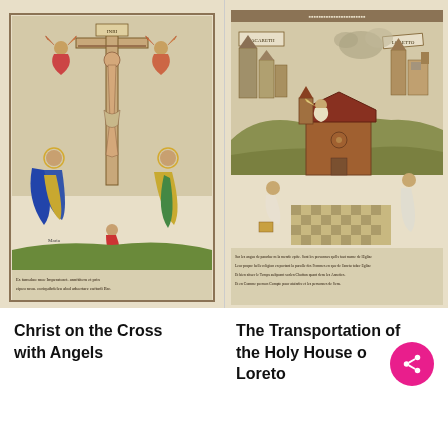[Figure (illustration): Medieval woodcut illustration of Christ on the Cross with Angels, Mary and John flanking the cross, angels collecting blood, a kneeling donor figure in red, skull at base, with Latin text inscription at bottom.]
[Figure (illustration): Medieval woodcut illustration of The Transportation of the Holy House of Loreto, showing a small chapel being transported by angels over a landscape with cities, with kneeling figures and French text inscription at bottom.]
Christ on the Cross with Angels
The Transportation of the Holy House of Loreto